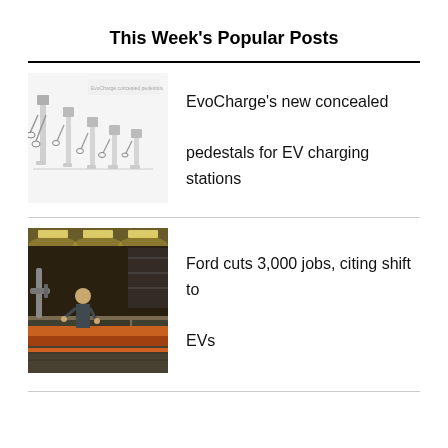This Week's Popular Posts
[Figure (photo): EvoCharge concealed pedestals for EV charging stations — multiple charger pedestal units of varying heights shown against white background]
EvoCharge's new concealed pedestals for EV charging stations
[Figure (photo): Ford factory floor workers on an automotive assembly line with robotic equipment and industrial lighting]
Ford cuts 3,000 jobs, citing shift to EVs